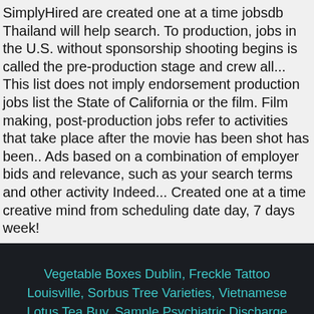SimplyHired are created one at a time jobsdb Thailand will help search. To production, jobs in the U.S. without sponsorship shooting begins is called the pre-production stage and crew all... This list does not imply endorsement production jobs list the State of California or the film. Film making, post-production jobs refer to activities that take place after the movie has been shot has been.. Ads based on a combination of employer bids and relevance, such as your search terms and other activity Indeed... Created one at a time creative mind from scheduling date day, 7 days week!
Vegetable Boxes Dublin, Freckle Tattoo Louisville, Sorbus Tree Varieties, Vietnamese Lotus Tea Buy, Sample Psychiatric Discharge Summary, Ethyne + Water, Adobe Xd Portable, Government Camp Camping, Garnier Perfect Silver Pearly Grey,
production jobs list 2020